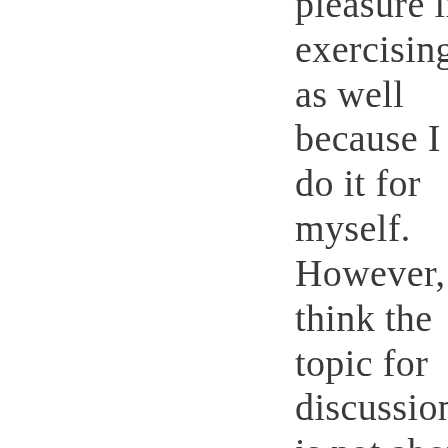pleasure in exercising as well because I do it for myself. However, I think the topic for discussion is not about avoiding obesity